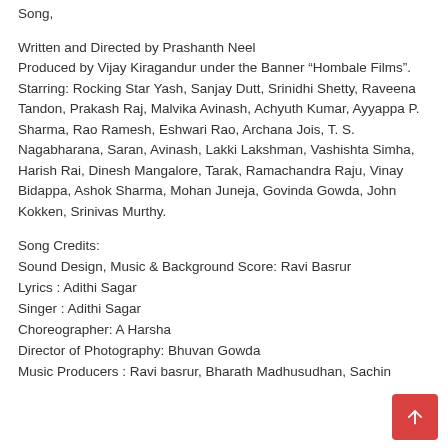Song,
Written and Directed by Prashanth Neel
Produced by Vijay Kiragandur under the Banner “Hombale Films”.
Starring: Rocking Star Yash, Sanjay Dutt, Srinidhi Shetty, Raveena Tandon, Prakash Raj, Malvika Avinash, Achyuth Kumar, Ayyappa P. Sharma, Rao Ramesh, Eshwari Rao, Archana Jois, T. S. Nagabharana, Saran, Avinash, Lakki Lakshman, Vashishta Simha, Harish Rai, Dinesh Mangalore, Tarak, Ramachandra Raju, Vinay Bidappa, Ashok Sharma, Mohan Juneja, Govinda Gowda, John Kokken, Srinivas Murthy.
Song Credits:
Sound Design, Music & Background Score: Ravi Basrur
Lyrics : Adithi Sagar
Singer : Adithi Sagar
Choreographer: A Harsha
Director of Photography: Bhuvan Gowda
Music Producers : Ravi basrur, Bharath Madhusudhan, Sachin